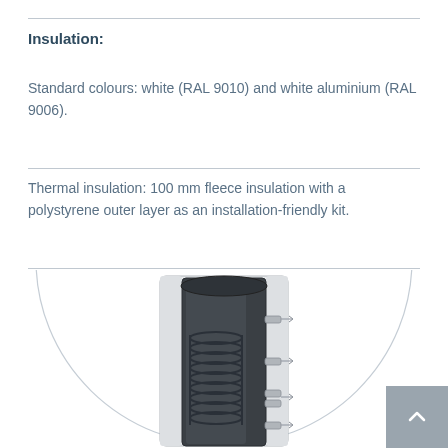Insulation:
Standard colours: white (RAL 9010) and white aluminium (RAL 9006).
Thermal insulation: 100 mm fleece insulation with a polystyrene outer layer as an installation-friendly kit.
[Figure (engineering-diagram): Cut-away cross-section of a cylindrical thermal storage tank showing dark inner tank wall, internal coiled heat exchanger spiral at the bottom, insulation layer around the tank, connection ports on the side, and a large circular arc outline in the background suggesting the full insulated tank form.]